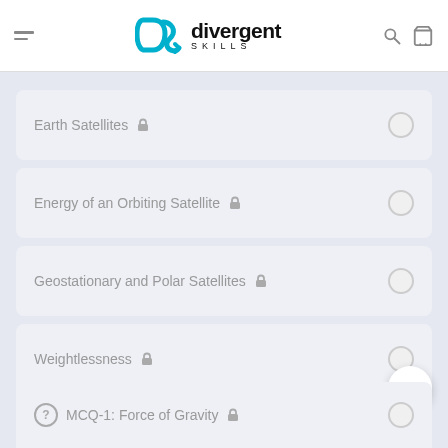[Figure (logo): Divergent Skills logo with teal 'DS' icon and bold text 'divergent' with 'SKILLS' below]
Earth Satellites 🔒
Energy of an Orbiting Satellite 🔒
Geostationary and Polar Satellites 🔒
Weightlessness 🔒
MCQ-1: Force of Gravity 🔒